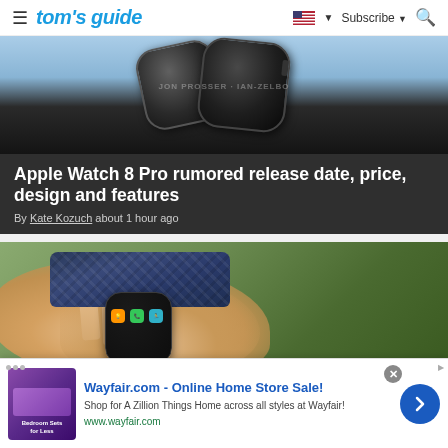tom's guide | Subscribe
[Figure (photo): Apple Watch 8 Pro concept renders showing two dark Apple Watch models against a light blue and dark background]
Apple Watch 8 Pro rumored release date, price, design and features
By Kate Kozuch about 1 hour ago
[Figure (photo): Hand holding an Apple Watch with a navy braided solo loop band]
Wayfair.com - Online Home Store Sale! Shop for A Zillion Things Home across all styles at Wayfair! www.wayfair.com